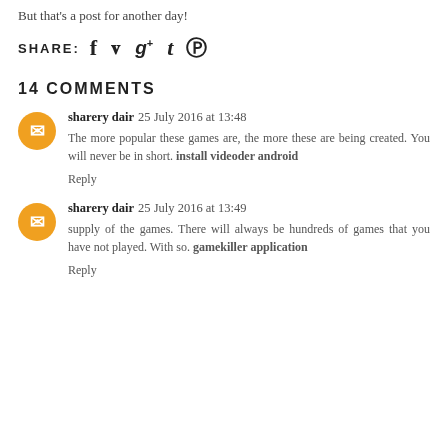But that's a post for another day!
SHARE: f  g+  t  p
14 COMMENTS
sharery dair  25 July 2016 at 13:48
The more popular these games are, the more these are being created. You will never be in short. install videoder android
Reply
sharery dair  25 July 2016 at 13:49
supply of the games. There will always be hundreds of games that you have not played. With so. gamekiller application
Reply